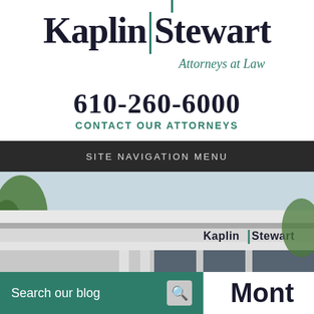[Figure (logo): Kaplin Stewart Attorneys at Law logo with teal vertical bar divider and italic tagline]
610-260-6000
CONTACT OUR ATTORNEYS
SITE NAVIGATION MENU
[Figure (photo): Exterior photo of the Kaplin Stewart law office building with the firm name on the facade]
Search our blog
Mont